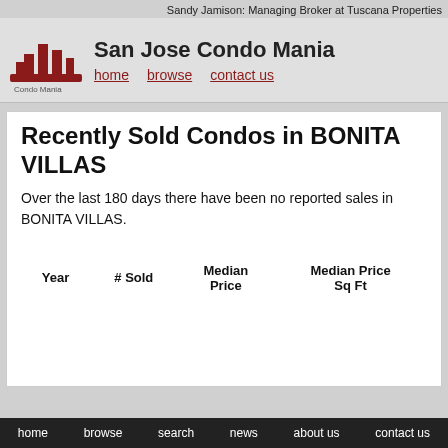Sandy Jamison: Managing Broker at Tuscana Properties
San Jose Condo Mania
Recently Sold Condos in BONITA VILLAS
Over the last 180 days there have been no reported sales in BONITA VILLAS.
| Year | # Sold | Median Price | Median Price Sq Ft |
| --- | --- | --- | --- |
home   browse   search   news   about us   contact us